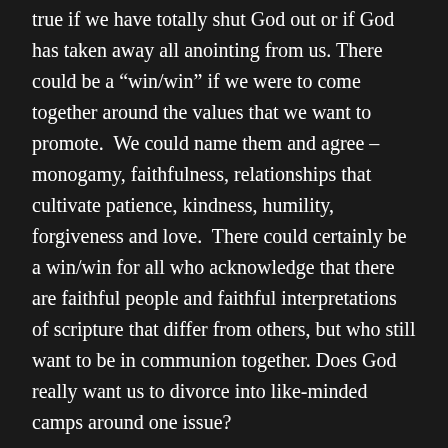true if we have totally shut God out or if God has taken away all anointing from us. There could be a “win/win” if we were to come together around the values that we want to promote.  We could name them and agree – monogamy, faithfulness, relationships that cultivate patience, kindness, humility, forgiveness and love.  There could certainly be a win/win for all who acknowledge that there are faithful people and faithful interpretations of scripture that differ from others, but who still want to be in communion together. Does God really want us to divorce into like-minded camps around one issue?
Looking through a different lens, I see a